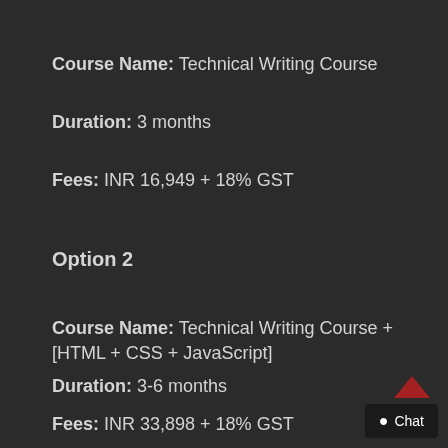Course Name: Technical Writing Course
Duration: 3 months
Fees: INR 16,949 + 18% GST
Option 2
Course Name: Technical Writing Course + [HTML + CSS + JavaScript]
Duration: 3-6 months
Fees: INR 33,898 + 18% GST